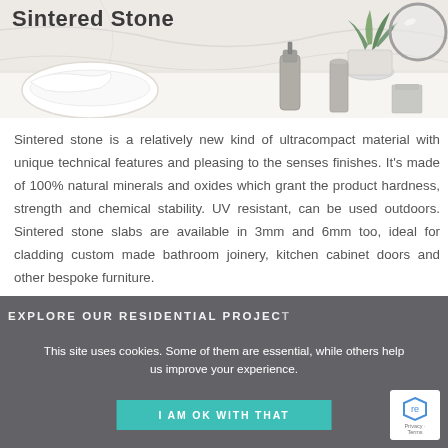[Figure (photo): Bathroom scene with sintered stone surface. Shows white ceramic bowl, soap dispenser, plant in white pot, round mirror, cylindrical container, all on a white stone/marble surface. Title 'Sintered Stone' overlaid on upper left.]
Sintered stone is a relatively new kind of ultracompact material with unique technical features and pleasing to the senses finishes. It's made of 100% natural minerals and oxides which grant the product hardness, strength and chemical stability. UV resistant, can be used outdoors. Sintered stone slabs are available in 3mm and 6mm too, ideal for cladding custom made bathroom joinery, kitchen cabinet doors and other bespoke furniture.
This site uses cookies. Some of them are essential, while others help us improve your experience.
EXPLORE OUR RESIDENTIAL PROJEC
I AM OK WITH THAT